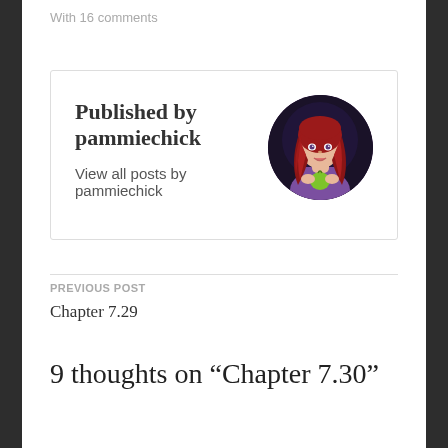With 16 comments
Published by pammiechick
View all posts by pammiechick
[Figure (photo): Circular avatar of pammiechick — illustrated female character with long red hair, purple top, holding a green object, against a dark blue background]
PREVIOUS POST
Chapter 7.29
9 thoughts on “Chapter 7.30”